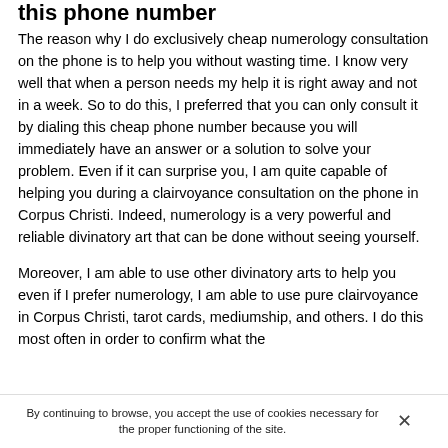this phone number
The reason why I do exclusively cheap numerology consultation on the phone is to help you without wasting time. I know very well that when a person needs my help it is right away and not in a week. So to do this, I preferred that you can only consult it by dialing this cheap phone number because you will immediately have an answer or a solution to solve your problem. Even if it can surprise you, I am quite capable of helping you during a clairvoyance consultation on the phone in Corpus Christi. Indeed, numerology is a very powerful and reliable divinatory art that can be done without seeing yourself.
Moreover, I am able to use other divinatory arts to help you even if I prefer numerology, I am able to use pure clairvoyance in Corpus Christi, tarot cards, mediumship, and others. I do this most often in order to confirm what the
By continuing to browse, you accept the use of cookies necessary for the proper functioning of the site.